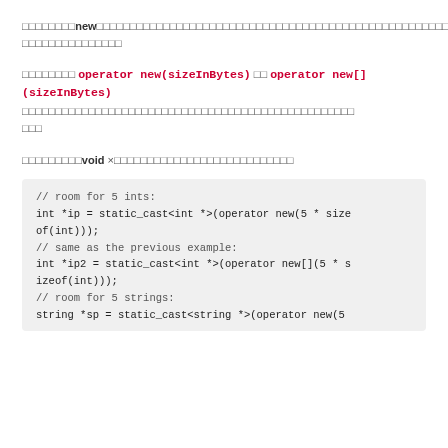関数形式のnewは、割り当てられたオブジェクトへのポインタを返す可能性を含むコードを書くためのものです。
関数形式の operator new(sizeInBytes) と operator new[](sizeInBytes) は、割り当てられたメモリへのポインタを返すための関数です。
関数形式のvoid ×は、割り当てられたメモリへのポインタを返します。
[Figure (screenshot): Code block showing C++ operator new examples with static_cast for int and string types]